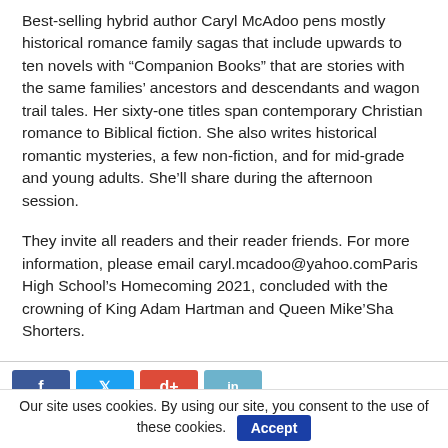Best-selling hybrid author Caryl McAdoo pens mostly historical romance family sagas that include upwards to ten novels with “Companion Books” that are stories with the same families’ ancestors and descendants and wagon trail tales. Her sixty-one titles span contemporary Christian romance to Biblical fiction. She also writes historical romantic mysteries, a few non-fiction, and for mid-grade and young adults. She’ll share during the afternoon session.
They invite all readers and their reader friends. For more information, please email caryl.mcadoo@yahoo.comParis High School’s Homecoming 2021, concluded with the crowning of King Adam Hartman and Queen Mike’Sha Shorters.
[Figure (other): Social media share buttons: Facebook (blue), Twitter (light blue), Google+ (orange-red), LinkedIn (light blue)]
Our site uses cookies. By using our site, you consent to the use of these cookies. Accept